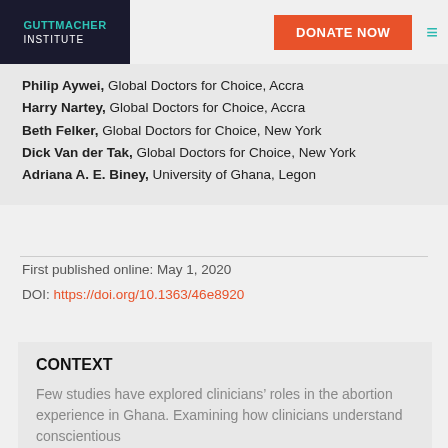GUTTMACHER INSTITUTE | DONATE NOW
Philip Aywei, Global Doctors for Choice, Accra
Harry Nartey, Global Doctors for Choice, Accra
Beth Felker, Global Doctors for Choice, New York
Dick Van der Tak, Global Doctors for Choice, New York
Adriana A. E. Biney, University of Ghana, Legon
First published online: May 1, 2020
DOI: https://doi.org/10.1363/46e8920
CONTEXT
Few studies have explored clinicians’ roles in the abortion experience in Ghana. Examining how clinicians understand conscientious